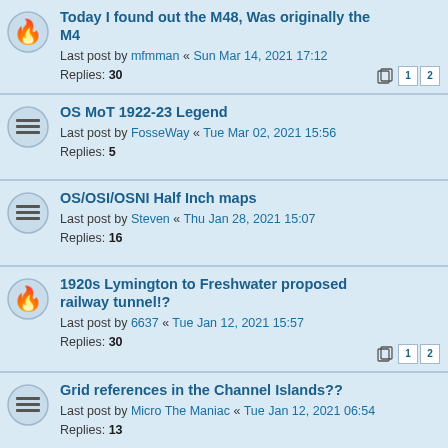Today I found out the M48, Was originally the M4
Last post by mfmman « Sun Mar 14, 2021 17:12
Replies: 30
OS MoT 1922-23 Legend
Last post by FosseWay « Tue Mar 02, 2021 15:56
Replies: 5
OS/OSI/OSNI Half Inch maps
Last post by Steven « Thu Jan 28, 2021 15:07
Replies: 16
1920s Lymington to Freshwater proposed railway tunnel!?
Last post by 6637 « Tue Jan 12, 2021 15:57
Replies: 30
Grid references in the Channel Islands??
Last post by Micro The Maniac « Tue Jan 12, 2021 06:54
Replies: 13
B1542 (Wisbech)
Last post by c2R « Sun Jan 10, 2021 12:21
Replies: 2